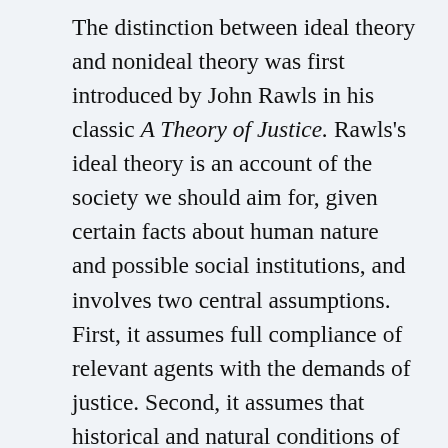The distinction between ideal theory and nonideal theory was first introduced by John Rawls in his classic A Theory of Justice. Rawls's ideal theory is an account of the society we should aim for, given certain facts about human nature and possible social institutions, and involves two central assumptions. First, it assumes full compliance of relevant agents with the demands of justice. Second, it assumes that historical and natural conditions of society are reasonably favorable. These two assumptions are individually necessary and jointly sufficient for his ideal theory. For Rawls, nonideal theory primarily addresses the question of how the ideal might be achieved in practical, permissible steps, from the actual, partially just society we occupy.